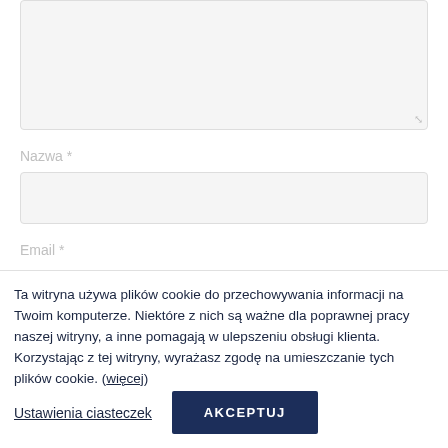[Figure (screenshot): A textarea form field (empty, with resize handle at bottom-right), a 'Nazwa *' label with empty text input box below it, and an 'Email *' label, all on a white background — part of a comment/contact form UI.]
Ta witryna używa plików cookie do przechowywania informacji na Twoim komputerze. Niektóre z nich są ważne dla poprawnej pracy naszej witryny, a inne pomagają w ulepszeniu obsługi klienta. Korzystając z tej witryny, wyrażasz zgodę na umieszczanie tych plików cookie. (więcej)
Ustawienia ciasteczek
AKCEPTUJ